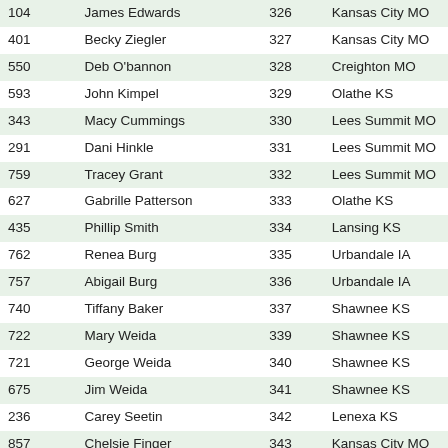| 104 | James Edwards | 326 | Kansas City MO |
| 401 | Becky Ziegler | 327 | Kansas City MO |
| 550 | Deb O'bannon | 328 | Creighton MO |
| 593 | John Kimpel | 329 | Olathe KS |
| 343 | Macy Cummings | 330 | Lees Summit MO |
| 291 | Dani Hinkle | 331 | Lees Summit MO |
| 759 | Tracey Grant | 332 | Lees Summit MO |
| 627 | Gabrille Patterson | 333 | Olathe KS |
| 435 | Phillip Smith | 334 | Lansing KS |
| 762 | Renea Burg | 335 | Urbandale IA |
| 757 | Abigail Burg | 336 | Urbandale IA |
| 740 | Tiffany Baker | 337 | Shawnee KS |
| 722 | Mary Weida | 339 | Shawnee KS |
| 721 | George Weida | 340 | Shawnee KS |
| 675 | Jim Weida | 341 | Shawnee KS |
| 236 | Carey Seetin | 342 | Lenexa KS |
| 857 | Chelsie Finger | 343 | Kansas City MO |
| 856 | Courtney Sellars | 344 | Shawnee KS |
| 16 | Lily Cutler | 345 | Smithville MO |
| 478 | Erin Lang | 346 | Kansas City MO |